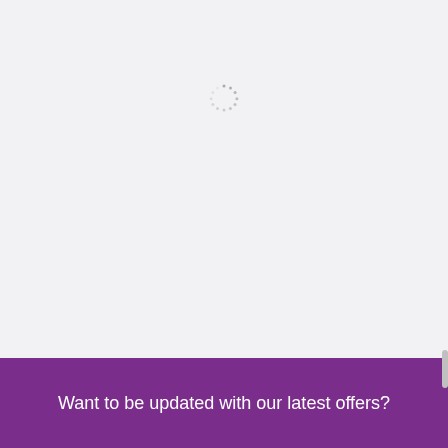[Figure (other): A loading spinner made of small dots arranged in a circle, gray dashed appearance, centered in the upper portion of a light gray page background.]
Want to be updated with our latest offers?